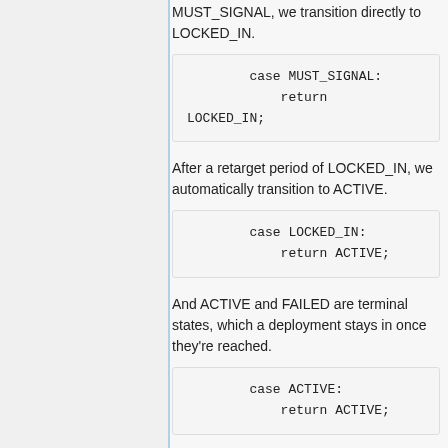MUST_SIGNAL, we transition directly to LOCKED_IN.
case MUST_SIGNAL:
            return LOCKED_IN;
After a retarget period of LOCKED_IN, we automatically transition to ACTIVE.
case LOCKED_IN:
        return ACTIVE;
And ACTIVE and FAILED are terminal states, which a deployment stays in once they're reached.
case ACTIVE:
        return ACTIVE;